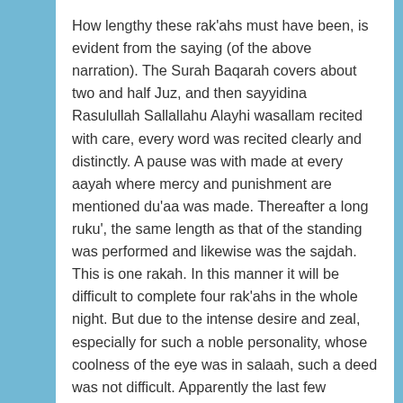How lengthy these rak'ahs must have been, is evident from the saying (of the above narration). The Surah Baqarah covers about two and half Juz, and then sayyidina Rasulullah Sallallahu Alayhi wasallam recited with care, every word was recited clearly and distinctly. A pause was with made at every aayah where mercy and punishment are mentioned du'aa was made. Thereafter a long ruku', the same length as that of the standing was performed and likewise was the sajdah. This is one rakah. In this manner it will be difficult to complete four rak'ahs in the whole night. But due to the intense desire and zeal, especially for such a noble personality, whose coolness of the eye was in salaah, such a deed was not difficult. Apparently the last few ahaadith have no relation with the subject on the fasting of Sayyidina Rasulullah Sallallahu 'Alayhi Wasallam. In (some) editions of the Shamaa-il these are included not only in the chapter on salaatud duha, saum etc., but in every chapter on the devotions of Sayyidina Rasulullah Sallallahu 'Alayhi